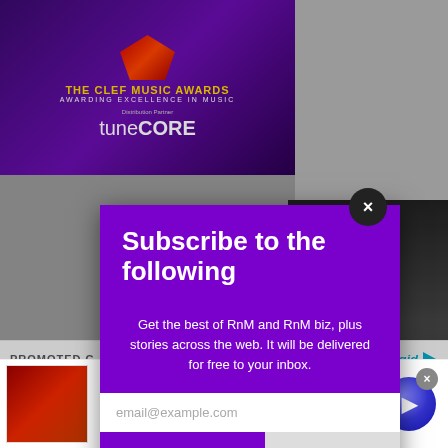[Figure (screenshot): Top purple banner with 'The Clef Music Awards - Awarding Excellence in Music' and TuneCore logo as distribution partner]
PROMOTED C
[Figure (logo): mgid logo in teal/blue with triangle play button]
[Figure (photo): Dark background with partial view of a dog or animal sculpture on the left and a man in black cap on the right]
Subscribe to the following
Get the best of RnM and RnM biz, plus stories across the web. It will be delivered for free to your inbox.
email@example.com
SUBSCRIBE
[Figure (screenshot): Dickies advertisement banner with red leather product image, title, description and circular arrow button]
Dickies® | Official Site | Workwear & Apparel
for work pants, work shirts, overalls, and coveralls.
www.dickies.com